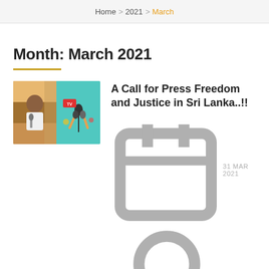Home > 2021 > March
Month: March 2021
[Figure (photo): Composite image: man speaking at microphone (political figure) alongside a teal graphic of multiple microphones with hands holding them]
A Call for Press Freedom and Justice in Sri Lanka..!!
31 MAR 2021
ANAND JHA
Press freedom has been a significant problem in Sri Lanka since the Civil War which lasted nearly three decades from …